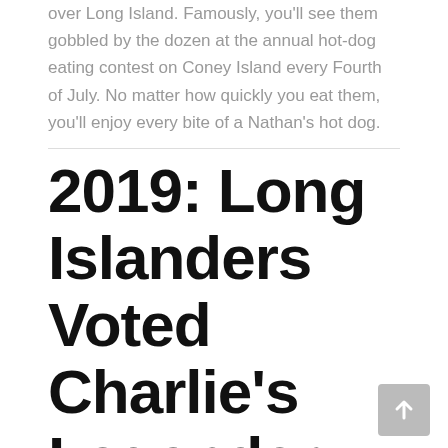over Long Island. Famously, you'll see them gobbled by the dozen at the annual hot-dog eating contest on Coney Island every Fourth of July. No matter how quickly you eat them, you'll enjoy every bite of a Nathan's hot dog.
2019: Long Islanders Voted Charlie's Legendary Hot Dogs the Best Hot Dogs!